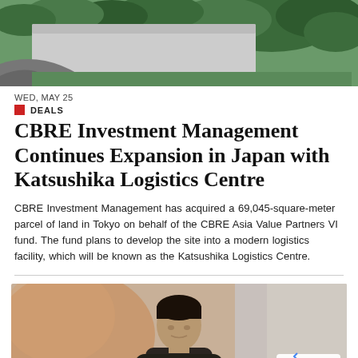[Figure (photo): Aerial rendering of the Katsushika Logistics Centre development site with green trees and road infrastructure]
WED, MAY 25
DEALS
CBRE Investment Management Continues Expansion in Japan with Katsushika Logistics Centre
CBRE Investment Management has acquired a 69,045-square-meter parcel of land in Tokyo on behalf of the CBRE Asia Value Partners VI fund. The fund plans to develop the site into a modern logistics facility, which will be known as the Katsushika Logistics Centre.
[Figure (photo): Portrait photo of a person (man with dark hair) in a blurred indoor background with reCAPTCHA Privacy-Terms badge overlay]